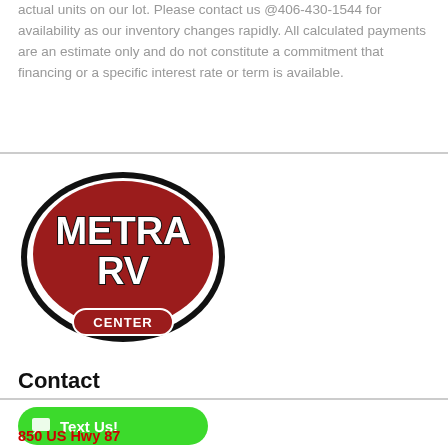actual units on our lot. Please contact us @406-430-1544 for availability as our inventory changes rapidly. All calculated payments are an estimate only and do not constitute a commitment that financing or a specific interest rate or term is available.
[Figure (logo): Metra RV Center logo — red oval with black border, white text reading METRA RV, with a red badge at the bottom reading CENTER]
Contact
Text Us!
850 US Hwy 87